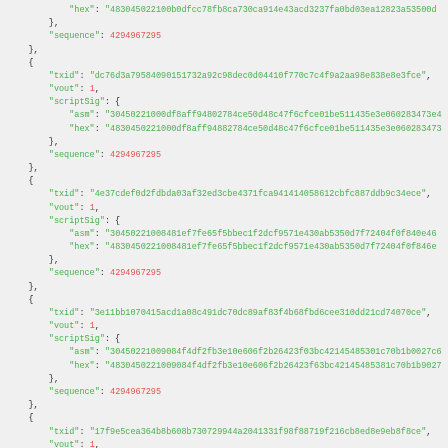JSON code block showing Bitcoin transaction input data with txid, vout, scriptSig (asm and hex), and sequence fields for multiple transaction inputs.